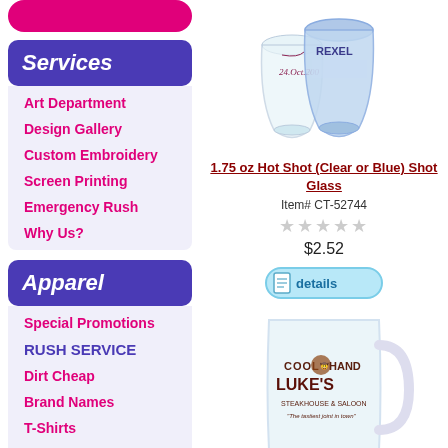[Figure (photo): Pink rounded button/bar at top left]
Services
Art Department
Design Gallery
Custom Embroidery
Screen Printing
Emergency Rush
Why Us?
Apparel
Special Promotions
RUSH SERVICE
Dirt Cheap
Brand Names
T-Shirts
Eco-Friendly
Sport-Polo Shirts
[Figure (photo): Two shot glasses, one clear and one blue, with Rexel branding]
1.75 oz Hot Shot (Clear or Blue) Shot Glass
Item# CT-52744
$2.52
[Figure (photo): Details button with document icon]
[Figure (photo): Large glass beer mug with Cool Hand Luke's Steakhouse branding]